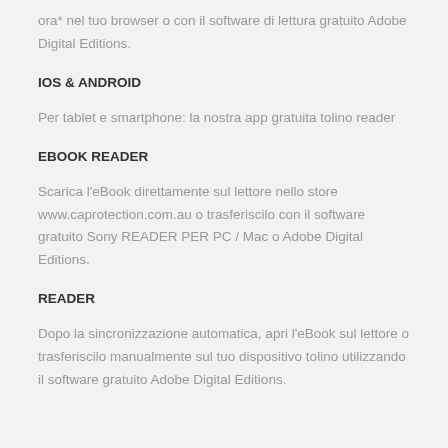ora* nel tuo browser o con il software di lettura gratuito Adobe Digital Editions.
IOS & ANDROID
Per tablet e smartphone: la nostra app gratuita tolino reader
EBOOK READER
Scarica l'eBook direttamente sul lettore nello store www.caprotection.com.au o trasferiscilo con il software gratuito Sony READER PER PC / Mac o Adobe Digital Editions.
READER
Dopo la sincronizzazione automatica, apri l'eBook sul lettore o trasferiscilo manualmente sul tuo dispositivo tolino utilizzando il software gratuito Adobe Digital Editions.